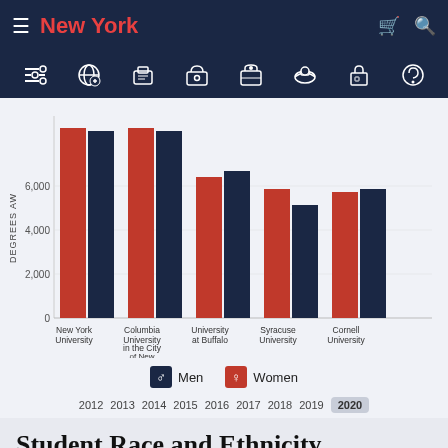New York
[Figure (grouped-bar-chart): Degrees Awarded by University]
Men  Women
2012 2013 2014 2015 2016 2017 2018 2019 2020
Student Race and Ethnicity